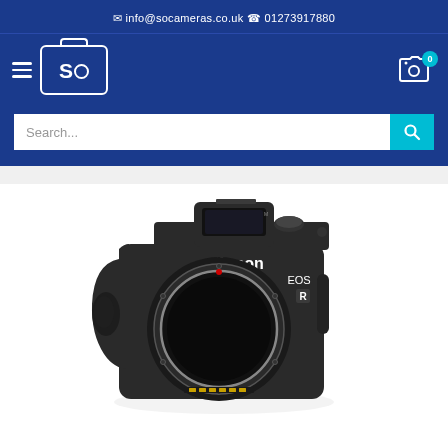✉ info@socameras.co.uk ✆ 01273917880
[Figure (logo): SO Cameras logo - briefcase with S and circle]
[Figure (photo): Canon EOS R mirrorless camera body (black) without lens, front view showing mount, on white background]